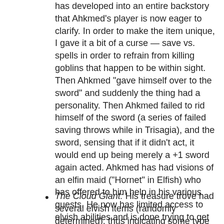has developed into an entire backstory that Ahkmed's player is now eager to clarify. In order to make the item unique, I gave it a bit of a curse — save vs. spells in order to refrain from killing goblins that happen to be within sight. Then Ahkmed "gave himself over to the sword" and suddenly the thing had a personality. Then Ahkmed failed to rid himself of the sword (a series of failed saving throws while in Trisagia), and the sword, sensing that if it didn't act, it would end up being merely a +1 sword again acted. Ahkmed has had visions of an elfin maid ("Hornet" in Elfish) who has offered to him help in his various quests. He now has limited access to elvish abilities and is done trying to get rid of the sword. We now have established that elvish swords somehow are imbued with the soul? spirit? essence? of an elf. More to come…
The Cloud Giant: His treasure trove had several elvish items (randomly determined), thus indicating some type of relationship with the